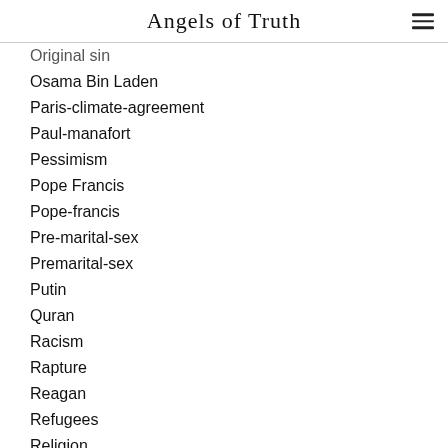Angels of Truth
Original sin
Osama Bin Laden
Paris-climate-agreement
Paul-manafort
Pessimism
Pope Francis
Pope-francis
Pre-marital-sex
Premarital-sex
Putin
Quran
Racism
Rapture
Reagan
Refugees
Religion
Religious Freedom